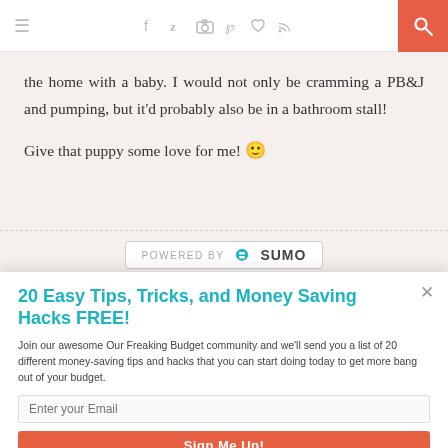Navigation bar with menu, social icons (Facebook, Twitter, Instagram, Pinterest, heart, RSS), and search button
the home with a baby. I would not only be cramming a PB&J and pumping, but it'd probably also be in a bathroom stall!
Give that puppy some love for me! 🙂
[Figure (logo): POWERED BY SUMO badge]
20 Easy Tips, Tricks, and Money Saving Hacks FREE!
Join our awesome Our Freaking Budget community and we'll send you a list of 20 different money-saving tips and hacks that you can start doing today to get more bang out of your budget.